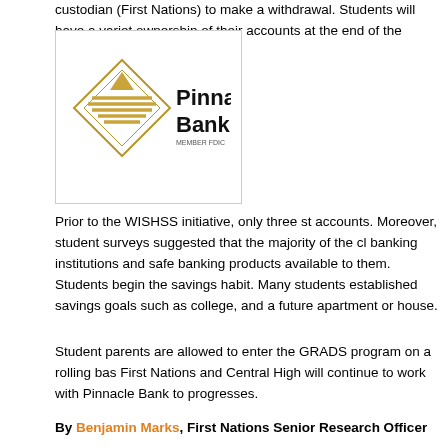custodian (First Nations) to make a withdrawal. Students will have a variety of ownership of their accounts at the end of the WISHSS program.
[Figure (logo): Pinnacle Bank logo with gold diamond/chevron symbol and bold text reading 'Pinnacle Bank' with 'MEMBER FDIC' below]
Prior to the WISHSS initiative, only three students had accounts. Moreover, student surveys suggested that the majority of the class was unaware of banking institutions and safe banking products available to them. Students were excited to begin the savings habit. Many students established savings goals such as college, and a future apartment or house.
Student parents are allowed to enter the GRADS program on a rolling basis. First Nations and Central High will continue to work with Pinnacle Bank to progresses.
By Benjamin Marks, First Nations Senior Research Officer